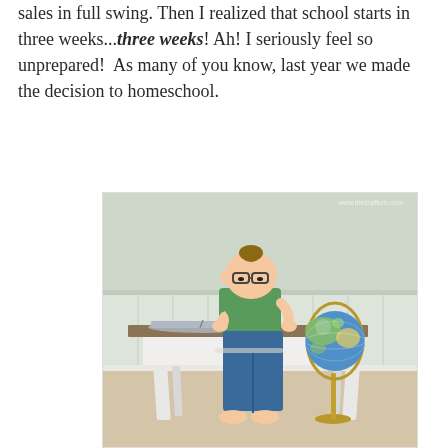sales in full swing. Then I realized that school starts in three weeks...*three weeks*! Ah! I seriously feel so unprepared! As many of you know, last year we made the decision to homeschool.
[Figure (photo): A young boy with glasses sitting at a white wooden desk, studying with an open book, next to a globe on a stand. The room has white wainscoting panels and carpeted floor.]